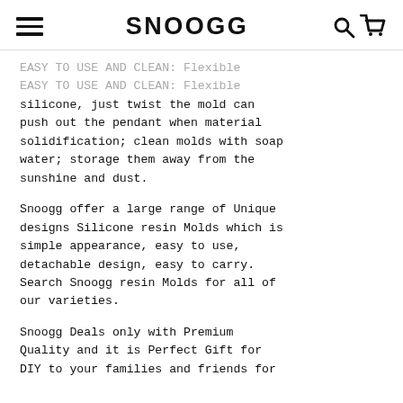SNOOGG
EASY TO USE AND CLEAN: Flexible silicone, just twist the mold can push out the pendant when material solidification; clean molds with soap water; storage them away from the sunshine and dust.
Snoogg offer a large range of Unique designs Silicone resin Molds which is simple appearance, easy to use, detachable design, easy to carry. Search Snoogg resin Molds for all of our varieties.
Snoogg Deals only with Premium Quality and it is Perfect Gift for DIY to your families and friends for